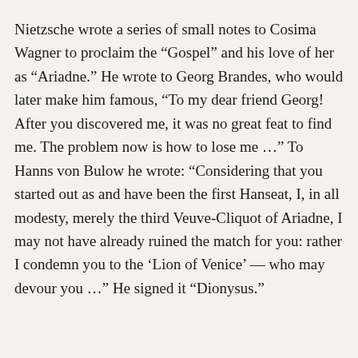Nietzsche wrote a series of small notes to Cosima Wagner to proclaim the “Gospel” and his love of her as “Ariadne.” He wrote to Georg Brandes, who would later make him famous, “To my dear friend Georg! After you discovered me, it was no great feat to find me. The problem now is how to lose me …” To Hanns von Bulow he wrote: “Considering that you started out as and have been the first Hanseat, I, in all modesty, merely the third Veuve-Cliquot of Ariadne, I may not have already ruined the match for you: rather I condemn you to the ‘Lion of Venice’ — who may devour you …” He signed it “Dionysus.”